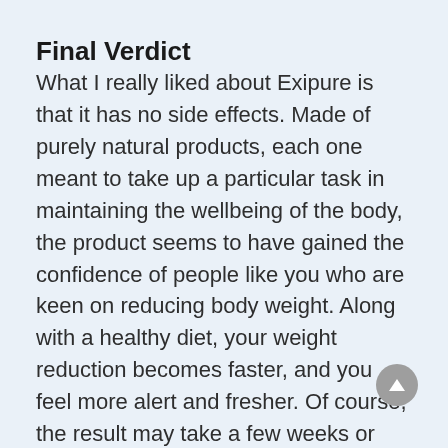Final Verdict
What I really liked about Exipure is that it has no side effects. Made of purely natural products, each one meant to take up a particular task in maintaining the wellbeing of the body, the product seems to have gained the confidence of people like you who are keen on reducing body weight. Along with a healthy diet, your weight reduction becomes faster, and you feel more alert and fresher. Of course, the result may take a few weeks or months which depends on various factors like diet, sleep, lifestyle, and mainly your…